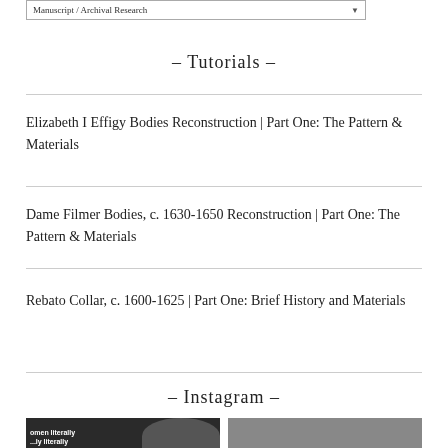Manuscript / Archival Research
- Tutorials -
Elizabeth I Effigy Bodies Reconstruction | Part One: The Pattern & Materials
Dame Filmer Bodies, c. 1630-1650 Reconstruction | Part One: The Pattern & Materials
Rebato Collar, c. 1600-1625 | Part One: Brief History and Materials
- Instagram -
[Figure (photo): Two Instagram photo thumbnails side by side. Left: dark background with bold white text reading 'omen literally' and partial text below, with a silhouette of a person with dark hair. Right: light grey background with a white sculptural bust or figurine.]